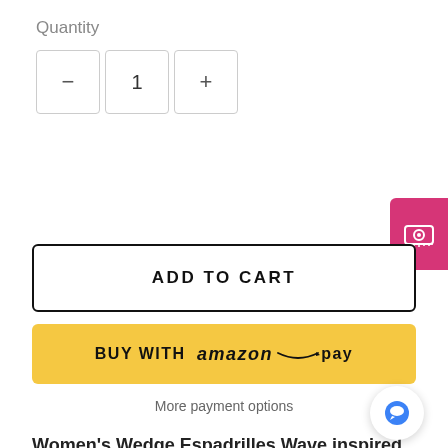Quantity
[Figure (screenshot): Quantity selector with minus button, value 1, and plus button]
[Figure (screenshot): Pink tab icon with measuring tape/roll icon on right edge]
ADD TO CART
[Figure (screenshot): BUY WITH amazon pay button (yellow background)]
More payment options
Women's Wedge Espadrilles Wave inspired by the mixed media artwork Rising with the Wave
Step into a brand new style and design your own heeled espadrilles, available in sizes 5 to 10. These